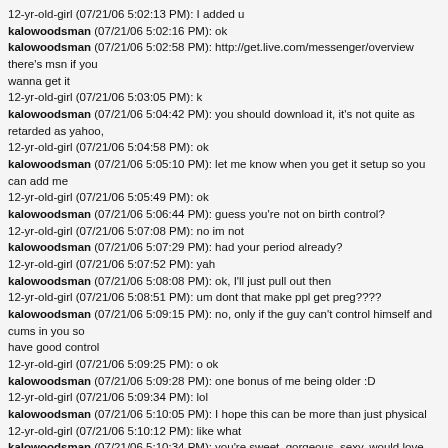12-yr-old-girl (07/21/06 5:02:13 PM): I added u
kalowoodsman (07/21/06 5:02:16 PM): ok
kalowoodsman (07/21/06 5:02:58 PM): http://get.live.com/messenger/overview there's msn if you wanna get it
12-yr-old-girl (07/21/06 5:03:05 PM): k
kalowoodsman (07/21/06 5:04:42 PM): you should download it, it's not quite as retarded as yahoo,
12-yr-old-girl (07/21/06 5:04:58 PM): ok
kalowoodsman (07/21/06 5:05:10 PM): let me know when you get it setup so you can add me
12-yr-old-girl (07/21/06 5:05:49 PM): ok
kalowoodsman (07/21/06 5:06:44 PM): guess you're not on birth control?
12-yr-old-girl (07/21/06 5:07:08 PM): no im not
kalowoodsman (07/21/06 5:07:29 PM): had your period already?
12-yr-old-girl (07/21/06 5:07:52 PM): yah
kalowoodsman (07/21/06 5:08:08 PM): ok, I'll just pull out then
12-yr-old-girl (07/21/06 5:08:51 PM): um dont that make ppl get preg????
kalowoodsman (07/21/06 5:09:15 PM): no, only if the guy can't control himself and cums in you so have good control
12-yr-old-girl (07/21/06 5:09:25 PM): o ok
kalowoodsman (07/21/06 5:09:28 PM): one bonus of me being older :D
12-yr-old-girl (07/21/06 5:09:34 PM): lol
kalowoodsman (07/21/06 5:10:05 PM): I hope this can be more than just physical
12-yr-old-girl (07/21/06 5:10:12 PM): like what
kalowoodsman (07/21/06 5:10:34 PM): you're sweet, gorgeous, sexy, would love being with you
12-yr-old-girl (07/21/06 5:10:57 PM): aww ty ur sweet 2
kalowoodsman (07/21/06 5:11:18 PM): I might have to make you mine ;)
12-yr-old-girl (07/21/06 5:11:26 PM): aww
12-yr-old-girl (07/21/06 5:11:28 PM): lol
kalowoodsman (07/21/06 5:11:41 PM): would you be ok with that?
12-yr-old-girl (07/21/06 5:12:02 PM): like u wanna b my bf
kalowoodsman (07/21/06 5:12:23 PM): yep
12-yr-old-girl (07/21/06 5:12:35 PM): kewl
kalowoodsman (07/21/06 5:12:47 PM): it's more than that, but it would take time to explain it all
12-yr-old-girl (07/21/06 5:13:06 PM): what u mean
kalowoodsman (07/21/06 5:13:35 PM): I'll teach you about it, how to submit to me. it's more than just dating
12-yr-old-girl (07/21/06 5:14:01 PM): o
kalowoodsman (07/21/06 5:14:08 PM): like how I asked you to wear a skirt, how I told you the thi want to do with you and you accepted, those are the things a good sub does for her Dom